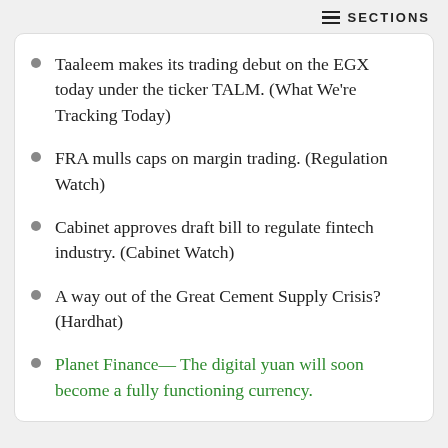SECTIONS
Taaleem makes its trading debut on the EGX today under the ticker TALM. (What We're Tracking Today)
FRA mulls caps on margin trading. (Regulation Watch)
Cabinet approves draft bill to regulate fintech industry. (Cabinet Watch)
A way out of the Great Cement Supply Crisis? (Hardhat)
Planet Finance— The digital yuan will soon become a fully functioning currency.